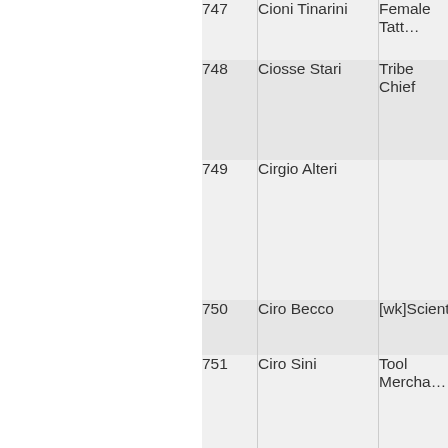| # | Name | Role |
| --- | --- | --- |
| 747 | Cioni Tinarini | Female Tatt… |
| 748 | Ciosse Stari | Tribe Chief |
| 749 | Cirgio Alteri |  |
| 750 | Ciro Becco | [wk]Scientis… |
| 751 | Ciro Sini | Tool Mercha… |